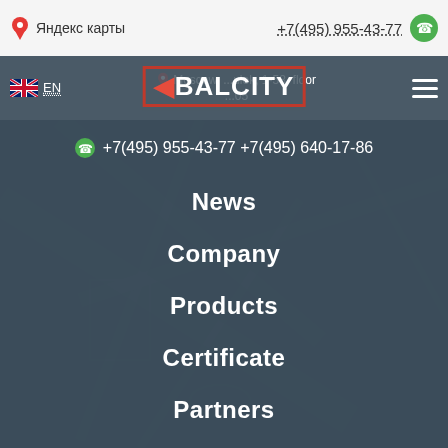Яндекс карты  +7(495) 955-43-77
Moscow, ...ulok, 1-58, floor ...05   EN   BALCITY
+7(495) 955-43-77 +7(495) 640-17-86
News
Company
Products
Certificate
Partners
Gallery